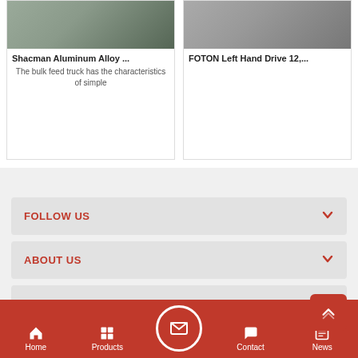[Figure (photo): Thumbnail image of Shacman Aluminum Alloy truck]
Shacman Aluminum Alloy ...
The bulk feed truck has the characteristics of simple
[Figure (photo): Thumbnail image of FOTON Left Hand Drive truck]
FOTON Left Hand Drive 12,...
FOLLOW US
ABOUT US
PRODUCT CATEGORIES
copyright © 2022 Xiagong Chusheng(Hubei)Special Purpose Vehicle Manufacturing Co.,Ltd..all rights reserved. friendly links： clvehicles
Home
Products
Contact
News